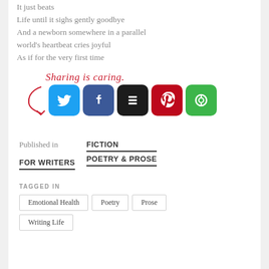It just beats
Life until it sighs gently goodbye
And a newborn somewhere in a parallel world's heartbeat cries joyful
As if for the very first time
[Figure (infographic): Sharing is caring label in cursive red text with a red arrow pointing to social media share buttons: Twitter (blue), Facebook (dark blue), Buffer (black), Pinterest (red), More (green)]
Published in FICTION FOR WRITERS POETRY & PROSE
TAGGED IN
Emotional Health
Poetry
Prose
Writing Life